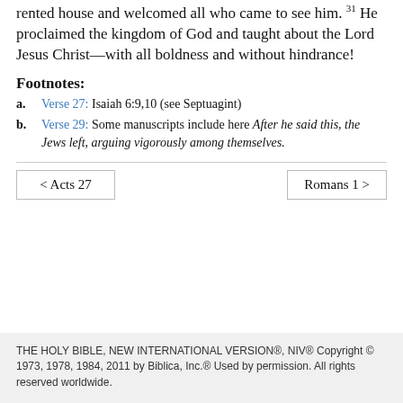rented house and welcomed all who came to see him. 31 He proclaimed the kingdom of God and taught about the Lord Jesus Christ—with all boldness and without hindrance!
Footnotes:
a. Verse 27: Isaiah 6:9,10 (see Septuagint)
b. Verse 29: Some manuscripts include here After he said this, the Jews left, arguing vigorously among themselves.
< Acts 27    Romans 1 >
THE HOLY BIBLE, NEW INTERNATIONAL VERSION®, NIV® Copyright © 1973, 1978, 1984, 2011 by Biblica, Inc.® Used by permission. All rights reserved worldwide.